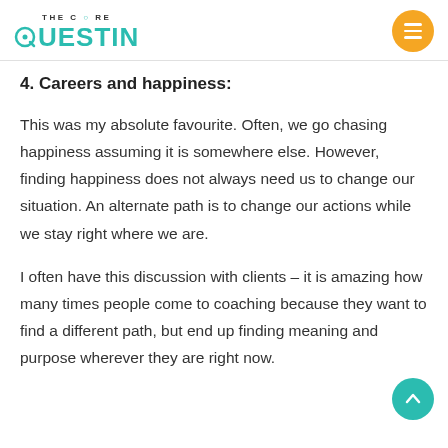THE CORE QUESTIN
4. Careers and happiness:
This was my absolute favourite. Often, we go chasing happiness assuming it is somewhere else. However, finding happiness does not always need us to change our situation. An alternate path is to change our actions while we stay right where we are.
I often have this discussion with clients – it is amazing how many times people come to coaching because they want to find a different path, but end up finding meaning and purpose wherever they are right now.